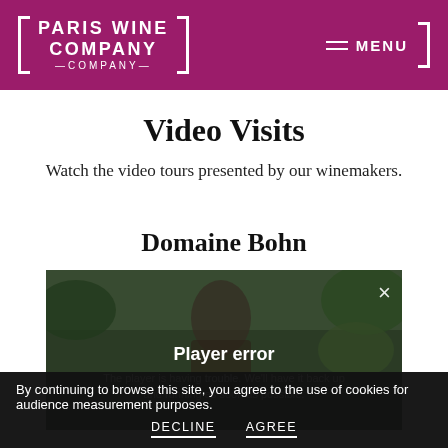PARIS WINE COMPANY — MENU
Video Visits
Watch the video tours presented by our winemakers.
Domaine Bohn
[Figure (screenshot): Video player showing a person in a vineyard with a 'Player error' overlay message: 'The player is having trouble. We'll have it back up and running as soon as possible.' A close (×) button is visible in the top right corner.]
By continuing to browse this site, you agree to the use of cookies for audience measurement purposes.
DECLINE  AGREE